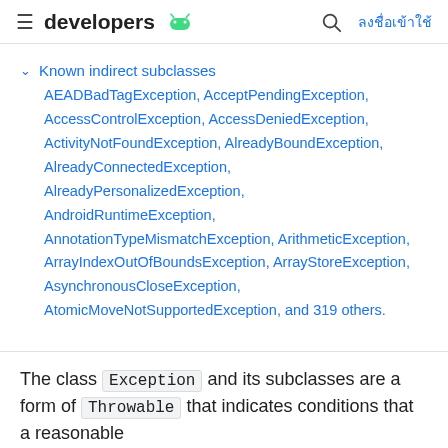≡ developers 🤖  🔍 ลงชื่อเข้าใช้
Known indirect subclasses
AEADBadTagException, AcceptPendingException, AccessControlException, AccessDeniedException, ActivityNotFoundException, AlreadyBoundException, AlreadyConnectedException, AlreadyPersonalizedException, AndroidRuntimeException, AnnotationTypeMismatchException, ArithmeticException, ArrayIndexOutOfBoundsException, ArrayStoreException, AsynchronousCloseException, AtomicMoveNotSupportedException, and 319 others.
The class Exception and its subclasses are a form of Throwable that indicates conditions that a reasonable